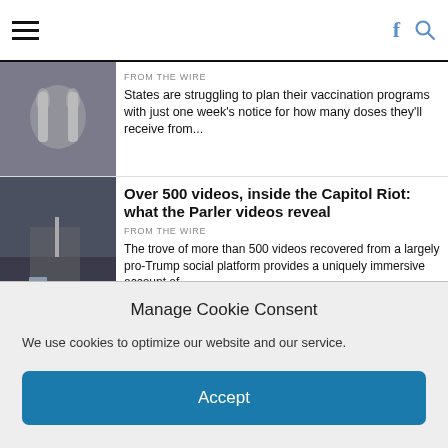Navigation header with hamburger menu, Facebook and search icons
[Figure (photo): Close-up of hands holding a small vial or medical item]
FROM THE WIRE
States are struggling to plan their vaccination programs with just one week's notice for how many doses they'll receive from...
[Figure (photo): Crowd scene at the US Capitol during the January 6 riot, people with flags and phones raised]
Over 500 videos, inside the Capitol Riot: what the Parler videos reveal
FROM THE WIRE
The trove of more than 500 videos recovered from a largely pro-Trump social platform provides a uniquely immersive account of...
[Figure (photo): Two men in suits, one appearing to be a politician, close-up]
Kelly, Manchin join GOP in passing motion to bar Biden from declaring climate emergency
Manage Cookie Consent
We use cookies to optimize our website and our service.
Accept